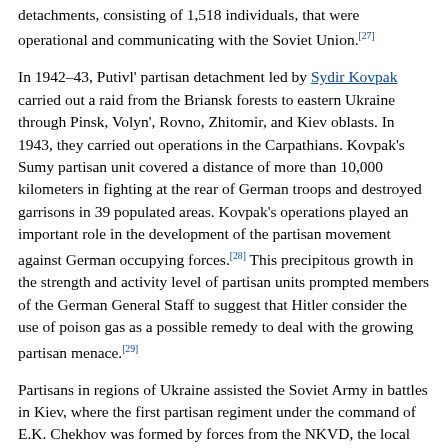detachments, consisting of 1,518 individuals, that were operational and communicating with the Soviet Union.[27]
In 1942–43, Putivl' partisan detachment led by Sydir Kovpak carried out a raid from the Briansk forests to eastern Ukraine through Pinsk, Volyn', Rovno, Zhitomir, and Kiev oblasts. In 1943, they carried out operations in the Carpathians. Kovpak's Sumy partisan unit covered a distance of more than 10,000 kilometers in fighting at the rear of German troops and destroyed garrisons in 39 populated areas. Kovpak's operations played an important role in the development of the partisan movement against German occupying forces.[28] This precipitous growth in the strength and activity level of partisan units prompted members of the German General Staff to suggest that Hitler consider the use of poison gas as a possible remedy to deal with the growing partisan menace.[29]
Partisans in regions of Ukraine assisted the Soviet Army in battles in Kiev, where the first partisan regiment under the command of E.K. Chekhov was formed by forces from the NKVD, the local Communist Party and Komsomol. Partisans in Dnipropetrovsk province provided significant assistance to troops on the southern and southwestern fronts, who helped restrain the German offensive in the Donbass in October–November 1941. Partisan detachments operating in the Novomoskovsk region under the command of P. Zuchenko raided a prisoner of war camp where Soviets were held,